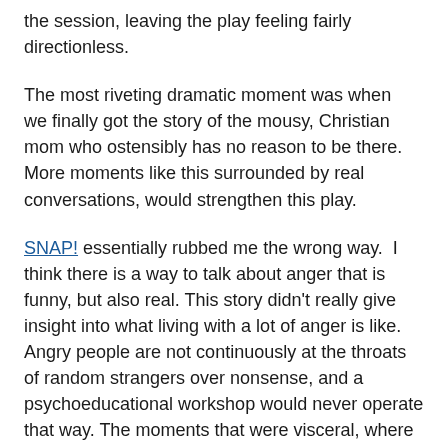the session, leaving the play feeling fairly directionless.
The most riveting dramatic moment was when we finally got the story of the mousy, Christian mom who ostensibly has no reason to be there. More moments like this surrounded by real conversations, would strengthen this play.
SNAP! essentially rubbed me the wrong way. I think there is a way to talk about anger that is funny, but also real. This story didn't really give insight into what living with a lot of anger is like. Angry people are not continuously at the throats of random strangers over nonsense, and a psychoeducational workshop would never operate that way. The moments that were visceral, where characters described going to a primal place where others cannot or will not go in the face of overwhelming circumstances, were crowded out by noisy clutter.
Fringe shows are works in progress, and SNAP! has the